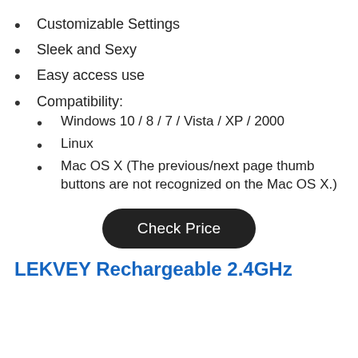Customizable Settings
Sleek and Sexy
Easy access use
Compatibility:
Windows 10 / 8 / 7 / Vista / XP / 2000
Linux
Mac OS X (The previous/next page thumb buttons are not recognized on the Mac OS X.)
[Figure (other): A dark rounded rectangle button with white text reading 'Check Price']
LEKVEY Rechargeable 2.4GHz